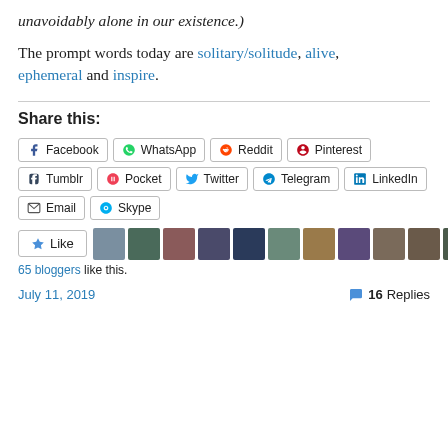unavoidably alone in our existence.)
The prompt words today are solitary/solitude, alive, ephemeral and inspire.
Share this:
Facebook, WhatsApp, Reddit, Pinterest, Tumblr, Pocket, Twitter, Telegram, LinkedIn, Email, Skype
65 bloggers like this.
July 11, 2019   16 Replies